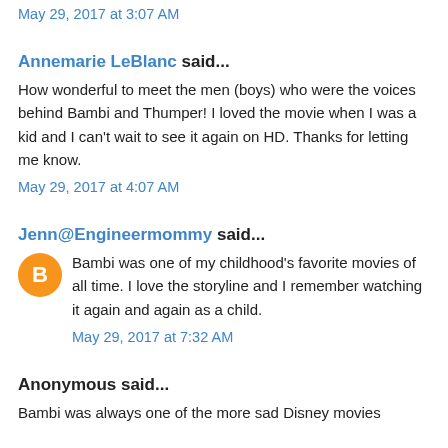May 29, 2017 at 3:07 AM
Annemarie LeBlanc said...
How wonderful to meet the men (boys) who were the voices behind Bambi and Thumper! I loved the movie when I was a kid and I can't wait to see it again on HD. Thanks for letting me know.
May 29, 2017 at 4:07 AM
Jenn@Engineermommy said...
Bambi was one of my childhood's favorite movies of all time. I love the storyline and I remember watching it again and again as a child.
May 29, 2017 at 7:32 AM
Anonymous said...
Bambi was always one of the more sad Disney movies